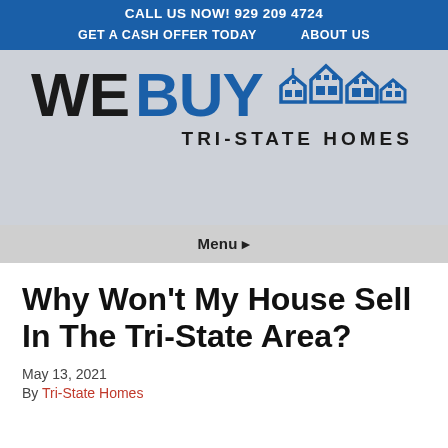CALL US NOW! 929 209 4724   GET A CASH OFFER TODAY   ABOUT US
[Figure (logo): We Buy Tri-State Homes logo with house icons in blue and black text]
Menu ▸
Why Won't My House Sell In The Tri-State Area?
May 13, 2021
By Tri-State Homes